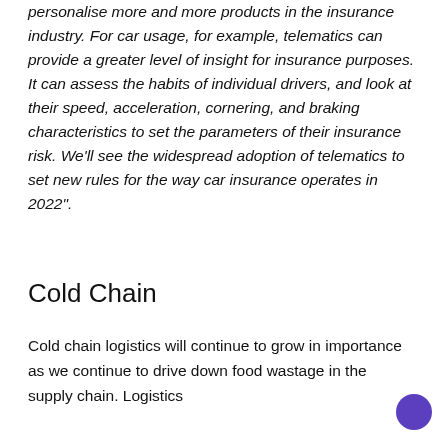personalise more and more products in the insurance industry. For car usage, for example, telematics can provide a greater level of insight for insurance purposes. It can assess the habits of individual drivers, and look at their speed, acceleration, cornering, and braking characteristics to set the parameters of their insurance risk. We'll see the widespread adoption of telematics to set new rules for the way car insurance operates in 2022".
Cold Chain
Cold chain logistics will continue to grow in importance as we continue to drive down food wastage in the supply chain. Logistics